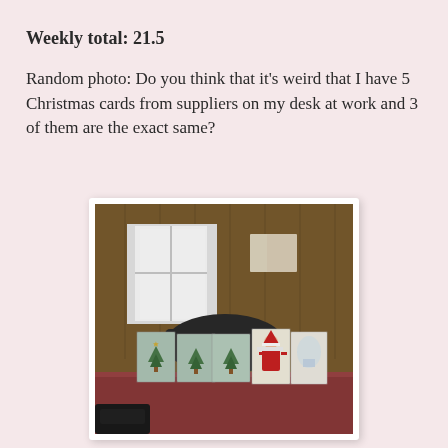Weekly total: 21.5
Random photo: Do you think that it's weird that I have 5 Christmas cards from suppliers on my desk at work and 3 of them are the exact same?
[Figure (photo): Photo of a desk with 5 Christmas cards standing upright: 3 identical teal/green cards with a Christmas tree design on the left, and 2 different cards (one with Santa, one with a white design) on the right. An office with wood-paneled walls and a bright window is visible in the background.]